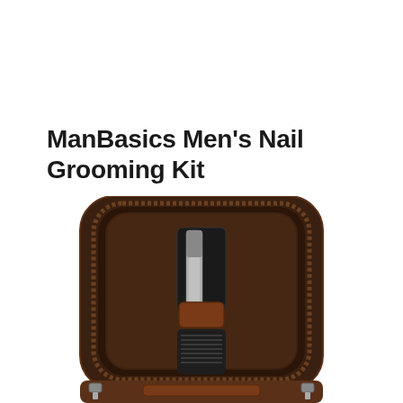ManBasics Men's Nail Grooming Kit
[Figure (photo): An open leather grooming kit case showing a nail file/buffer and a nail clipper/file tool secured in a dark brown velvet-lined interior tray with zipper closure. The case has a brown leather exterior with metal zipper pulls visible at the bottom.]